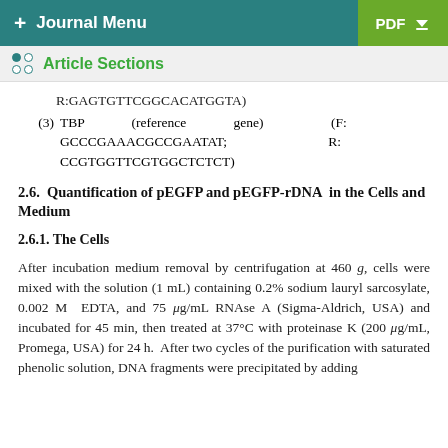+ Journal Menu   PDF ↓
Article Sections
R:GAGTGTTCGGCACATGGTA)
(3) TBP (reference gene) (F: GCCCGAAACGCCGAATAT; R: CCGTGGTTCGTGGCTCTCT)
2.6. Quantification of pEGFP and pEGFP-rDNA in the Cells and Medium
2.6.1. The Cells
After incubation medium removal by centrifugation at 460 g, cells were mixed with the solution (1 mL) containing 0.2% sodium lauryl sarcosylate, 0.002 M EDTA, and 75 μg/mL RNAse A (Sigma-Aldrich, USA) and incubated for 45 min, then treated at 37°C with proteinase K (200 μg/mL, Promega, USA) for 24 h. After two cycles of the purification with saturated phenolic solution, DNA fragments were precipitated by adding